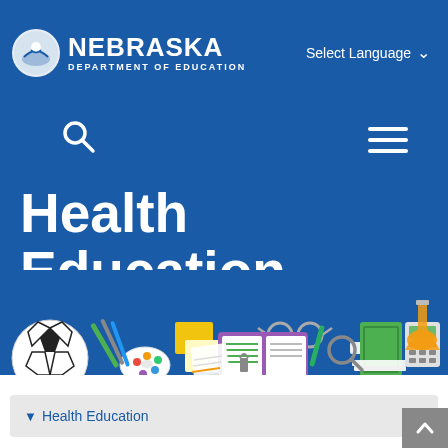[Figure (logo): Nebraska Department of Education logo with circular emblem and text]
Select Language
[Figure (illustration): Search icon (magnifying glass) on blue background]
[Figure (illustration): Hamburger menu icon (three horizontal lines) on blue background]
Health Education
[Figure (illustration): Colorful illustration of school and education items: soccer ball, art palette, notebooks, glasses, open book with hands, magnifying glass, green notebook, papers, calculator, science flask, pencils on blue background]
▾ Health Education